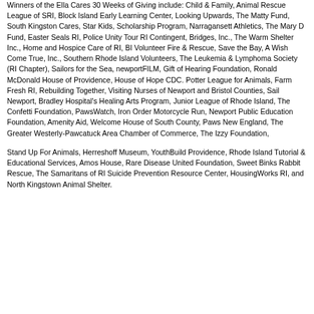Winners of the Ella Cares 30 Weeks of Giving include: Child & Family, Animal Rescue League of SRI, Block Island Early Learning Center, Looking Upwards, The Matty Fund, South Kingston Cares, Star Kids, Scholarship Program, Narragansett Athletics, The Mary D Fund, Easter Seals RI, Police Unity Tour RI Contingent, Bridges, Inc., The Warm Shelter Inc., Home and Hospice Care of RI, BI Volunteer Fire & Rescue, Save the Bay, A Wish Come True, Inc., Southern Rhode Island Volunteers, The Leukemia & Lymphoma Society (RI Chapter), Sailors for the Sea, newportFILM, Gift of Hearing Foundation, Ronald McDonald House of Providence, House of Hope CDC. Potter League for Animals, Farm Fresh RI, Rebuilding Together, Visiting Nurses of Newport and Bristol Counties, Sail Newport, Bradley Hospital's Healing Arts Program, Junior League of Rhode Island, The Confetti Foundation, PawsWatch, Iron Order Motorcycle Run, Newport Public Education Foundation, Amenity Aid, Welcome House of South County, Paws New England, The Greater Westerly-Pawcatuck Area Chamber of Commerce, The Izzy Foundation,
Stand Up For Animals, Herreshoff Museum, YouthBuild Providence, Rhode Island Tutorial & Educational Services, Amos House, Rare Disease United Foundation, Sweet Binks Rabbit Rescue, The Samaritans of RI Suicide Prevention Resource Center, HousingWorks RI, and North Kingstown Animal Shelter.